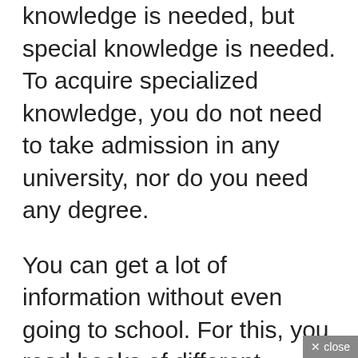knowledge is needed, but special knowledge is needed. To acquire specialized knowledge, you do not need to take admission in any university, nor do you need any degree.
You can get a lot of information without even going to school. For this, you read books of different authors, go to seminars or any educational program.
Special knowledge means knowledge of his field of work, for salvation, a great player does not become a player just by studying college, he has to take special training about his game and has to...